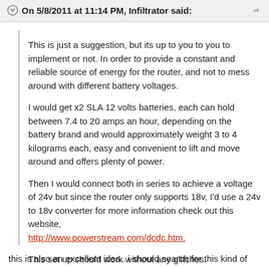On 5/8/2011 at 11:14 PM, Infiltrator said:
This is just a suggestion, but its up to you to you to implement or not. In order to provide a constant and reliable source of energy for the router, and not to mess around with different battery voltages.
I would get x2 SLA 12 volts batteries, each can hold between 7.4 to 20 amps an hour, depending on the battery brand and would approximately weight 3 to 4 kilograms each, easy and convenient to lift and move around and offers plenty of power.
Then I would connect both in series to achieve a voltage of 24v but since the router only supports 18v, I'd use a 24v to 18v converter for more information check out this website, http://www.powerstream.com/dcdc.htm.
This set up should work without any glitches.
this is also an excellent idea.. i should search for this kind of